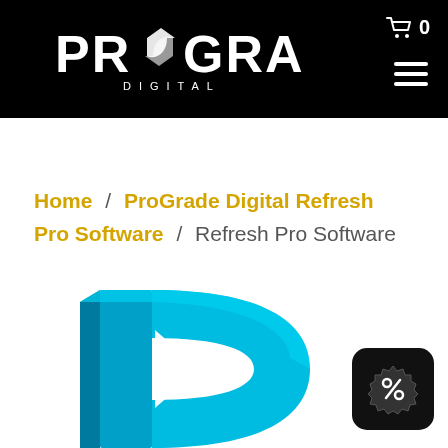ProGrade Digital — navigation header with logo, cart (0), and hamburger menu
Home / ProGrade Digital Refresh Pro Software / Refresh Pro Software
[Figure (screenshot): ProGrade Digital Refresh Pro Software product page screenshot showing breadcrumb navigation and partial product logo image (blue 3D letter D with white arrow) at the bottom, plus a discount badge icon in the lower right corner.]